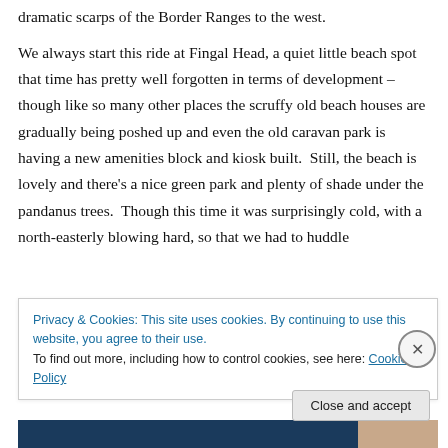dramatic scarps of the Border Ranges to the west.
We always start this ride at Fingal Head, a quiet little beach spot that time has pretty well forgotten in terms of development – though like so many other places the scruffy old beach houses are gradually being poshed up and even the old caravan park is having a new amenities block and kiosk built.  Still, the beach is lovely and there's a nice green park and plenty of shade under the pandanus trees.  Though this time it was surprisingly cold, with a north-easterly blowing hard, so that we had to huddle
Privacy & Cookies: This site uses cookies. By continuing to use this website, you agree to their use.
To find out more, including how to control cookies, see here: Cookie Policy
Close and accept